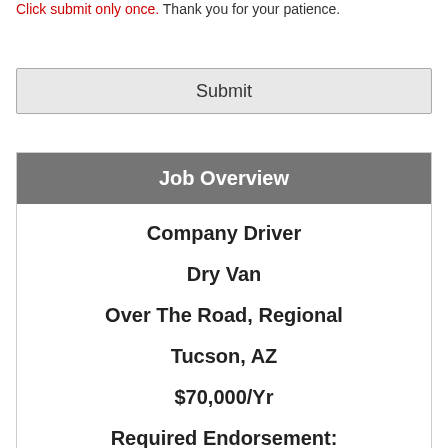Click submit only once. Thank you for your patience.
Submit
Job Overview
Company Driver
Dry Van
Over The Road, Regional
Tucson, AZ
$70,000/Yr
Required Endorsement: None